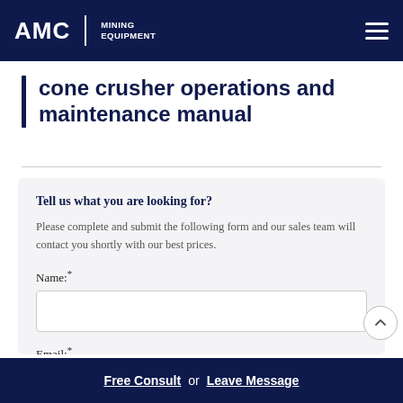AMC MINING EQUIPMENT
cone crusher operations and maintenance manual
Tell us what you are looking for?
Please complete and submit the following form and our sales team will contact you shortly with our best prices.
Name:*
Email:*
Free Consult or Leave Message